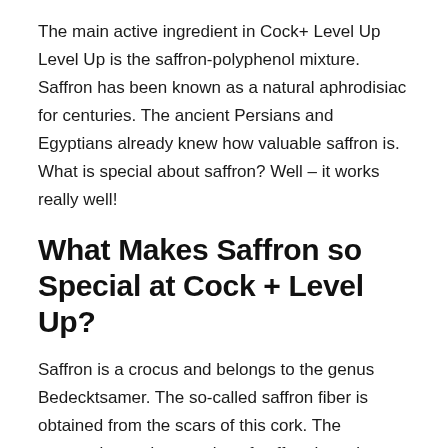The main active ingredient in Cock+ Level Up Level Up is the saffron-polyphenol mixture. Saffron has been known as a natural aphrodisiac for centuries. The ancient Persians and Egyptians already knew how valuable saffron is. What is special about saffron? Well – it works really well!
What Makes Saffron so Special at Cock + Level Up?
Saffron is a crocus and belongs to the genus Bedecktsamer. The so-called saffron fiber is obtained from the scars of this cork. The extremely good properties of saffron have been scientifically proven. It contains valuable carotenoids and